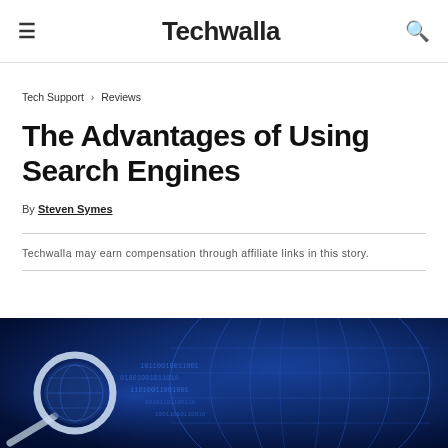Techwalla
Tech Support › Reviews
The Advantages of Using Search Engines
By Steven Symes
Techwalla may earn compensation through affiliate links in this story.
[Figure (photo): Blue digital globe with binary code and a magnifying glass, representing internet search technology]